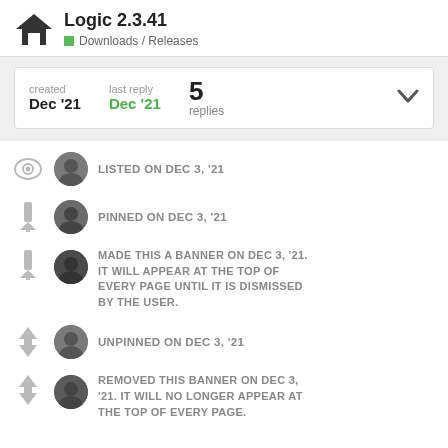Logic 2.3.41 — Downloads / Releases
created Dec '21  last reply Dec '21  5 replies
LISTED ON DEC 3, '21
PINNED ON DEC 3, '21
MADE THIS A BANNER ON DEC 3, '21. IT WILL APPEAR AT THE TOP OF EVERY PAGE UNTIL IT IS DISMISSED BY THE USER.
UNPINNED ON DEC 3, '21
REMOVED THIS BANNER ON DEC 3, '21. IT WILL NO LONGER APPEAR AT THE TOP OF EVERY PAGE.